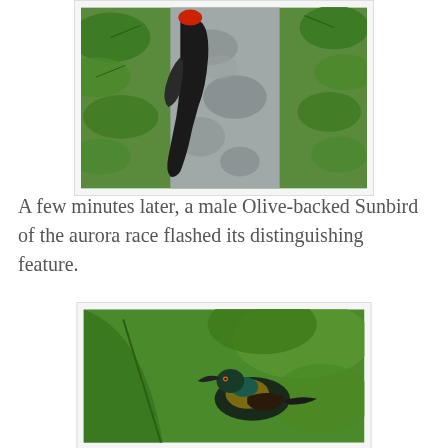[Figure (photo): A woodpecker-like bird with a red crown clinging to the side of a mottled grey tree trunk, surrounded by green leaves.]
A few minutes later, a male Olive-backed Sunbird of the aurora race flashed its distinguishing feature.
[Figure (photo): A male Olive-backed Sunbird of the aurora race perched among large green leaves, showing its iridescent plumage and curved beak.]